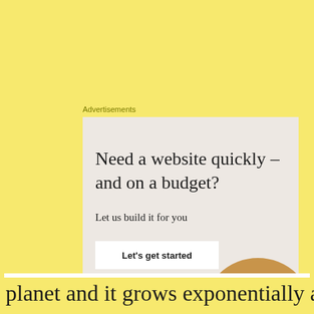Advertisements
[Figure (illustration): Advertisement banner with beige background showing text 'Need a website quickly – and on a budget?' with subtitle 'Let us build it for you', a white button 'Let's get started', and a circular photo of a person working.]
Privacy & Cookies: This site uses cookies. By continuing to use this website, you agree to their use.
To find out more, including how to control cookies, see here:
Cookie Policy
Close and accept
planet and it grows exponentially at